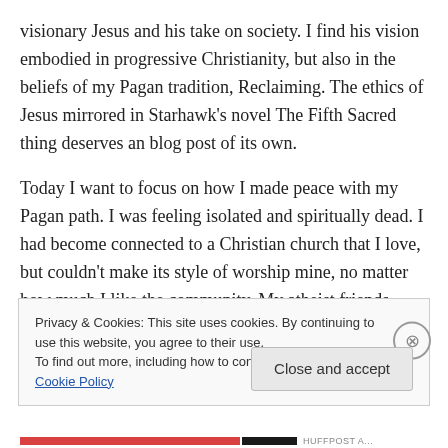visionary Jesus and his take on society. I find his vision embodied in progressive Christianity, but also in the beliefs of my Pagan tradition, Reclaiming. The ethics of Jesus mirrored in Starhawk's novel The Fifth Sacred thing deserves an blog post of its own.
Today I want to focus on how I made peace with my Pagan path. I was feeling isolated and spiritually dead. I had become connected to a Christian church that I love, but couldn't make its style of worship mine, no matter how much I like the community. My atheist friends couldn't
Privacy & Cookies: This site uses cookies. By continuing to use this website, you agree to their use.
To find out more, including how to control cookies, see here: Cookie Policy